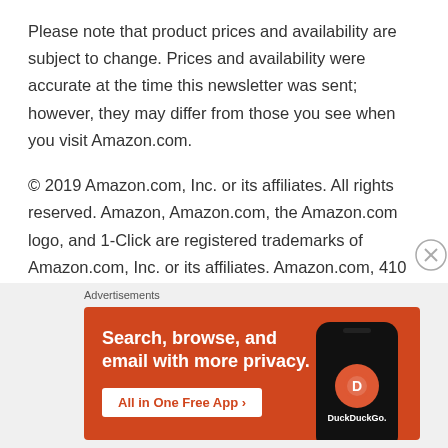Please note that product prices and availability are subject to change. Prices and availability were accurate at the time this newsletter was sent; however, they may differ from those you see when you visit Amazon.com.
© 2019 Amazon.com, Inc. or its affiliates. All rights reserved. Amazon, Amazon.com, the Amazon.com logo, and 1-Click are registered trademarks of Amazon.com, Inc. or its affiliates. Amazon.com, 410 Terry Avenue N., Seattle, WA 98109-5210. Reference: 396841210
[Figure (other): DuckDuckGo advertisement banner with orange background showing 'Search, browse, and email with more privacy. All in One Free App' text and a phone graphic with the DuckDuckGo logo]